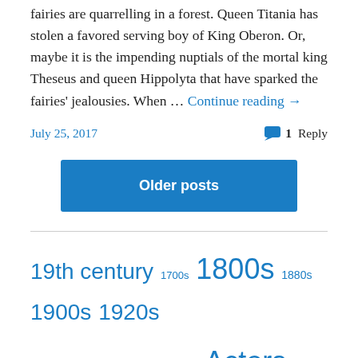fairies are quarrelling in a forest. Queen Titania has stolen a favored serving boy of King Oberon. Or, maybe it is the impending nuptials of the mortal king Theseus and queen Hippolyta that have sparked the fairies' jealousies. When … Continue reading →
July 25, 2017   1 Reply
Older posts
19th century  1700s  1800s  1880s  1900s  1920s
1930s  1940s  1950s  1960s  Actors  archaeology
Broadway  Bronx  Brooklyn  Byron Company